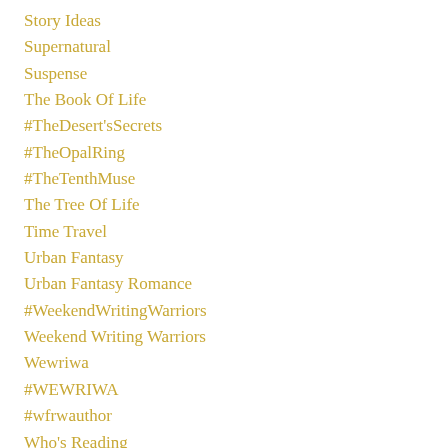Story Ideas
Supernatural
Suspense
The Book Of Life
#TheDesert'sSecrets
#TheOpalRing
#TheTenthMuse
The Tree Of Life
Time Travel
Urban Fantasy
Urban Fantasy Romance
#WeekendWritingWarriors
Weekend Writing Warriors
Wewriwa
#WEWRIWA
#wfrwauthor
Who's Reading